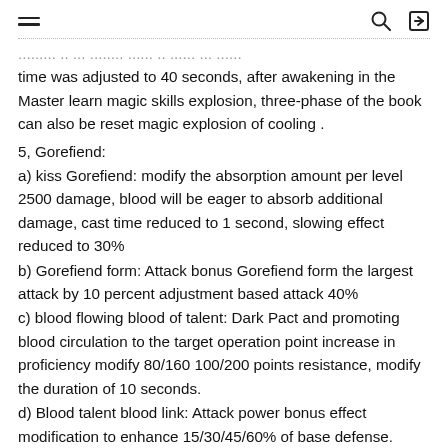≡  🔍  ⬛
...modified to 0.0 seconds per level, to reduce the cooling time was adjusted to 40 seconds, after awakening in the Master learn magic skills explosion, three-phase of the book can also be reset magic explosion of cooling .
5, Gorefiend:
a) kiss Gorefiend: modify the absorption amount per level 2500 damage, blood will be eager to absorb additional damage, cast time reduced to 1 second, slowing effect reduced to 30%
b) Gorefiend form: Attack bonus Gorefiend form the largest attack by 10 percent adjustment based attack 40%
c) blood flowing blood of talent: Dark Pact and promoting blood circulation to the target operation point increase in proficiency modify 80/160 100/200 points resistance, modify the duration of 10 seconds.
d) Blood talent blood link: Attack power bonus effect modification to enhance 15/30/45/60% of base defense.
e) Blood talent bloodthirsty gene: crit rate bonus changed...